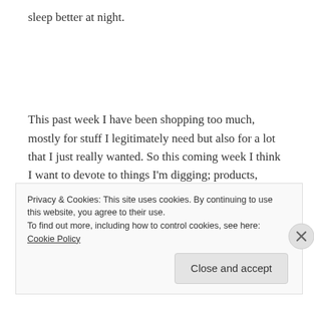sleep better at night.
This past week I have been shopping too much, mostly for stuff I legitimately need but also for a lot that I just really wanted. So this coming week I think I want to devote to things I'm digging; products, people, companies, etc. I feel that although I do not have a large following of readers, I do greatly appreciate honest
Privacy & Cookies: This site uses cookies. By continuing to use this website, you agree to their use.
To find out more, including how to control cookies, see here: Cookie Policy
Close and accept